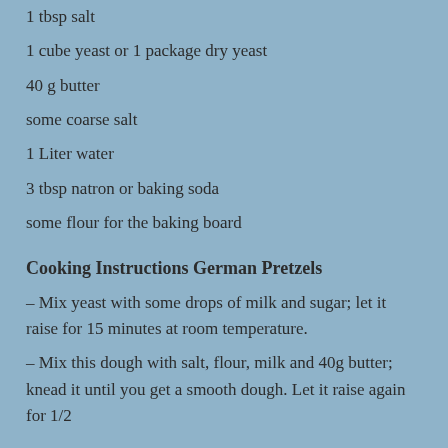1 tbsp salt
1 cube yeast or 1 package dry yeast
40 g butter
some coarse salt
1 Liter water
3 tbsp natron or baking soda
some flour for the baking board
Cooking Instructions German Pretzels
– Mix yeast with some drops of milk and sugar; let it raise for 15 minutes at room temperature.
– Mix this dough with salt, flour, milk and 40g butter; knead it until you get a smooth dough. Let it raise again for 1/2